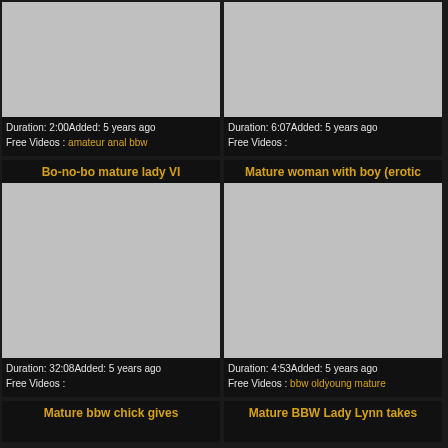[Figure (screenshot): Video thumbnail placeholder (gray), top-left card, no title shown]
Duration: 2:00Added: 5 years ago
Free Videos : amateur anal bbw
[Figure (screenshot): Video thumbnail placeholder (gray), top-right card, no title shown]
Duration: 6:07Added: 5 years ago
Free Videos :
Bo-no-bo mature lady VI
[Figure (screenshot): Video thumbnail placeholder (gray), middle-left card]
Duration: 32:08Added: 5 years ago
Free Videos :
Mature woman with boy (erotic
[Figure (screenshot): Video thumbnail placeholder (gray), middle-right card]
Duration: 4:53Added: 5 years ago
Free Videos : bbw oldyoung mature
Mature bbw chick gives
Mature BBW Lady Lynn takes